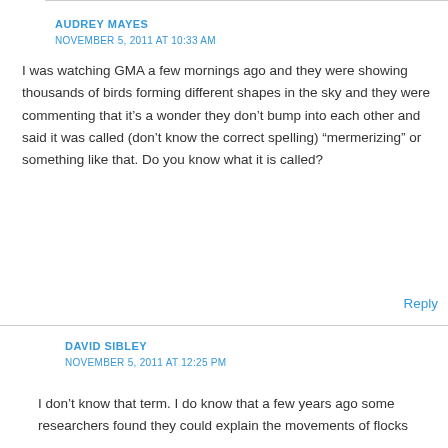AUDREY MAYES
NOVEMBER 5, 2011 AT 10:33 AM
I was watching GMA a few mornings ago and they were showing thousands of birds forming different shapes in the sky and they were commenting that it’s a wonder they don’t bump into each other and said it was called (don’t know the correct spelling) “mermerizing” or something like that. Do you know what it is called?
Reply
DAVID SIBLEY
NOVEMBER 5, 2011 AT 12:25 PM
I don’t know that term. I do know that a few years ago some researchers found they could explain the movements of flocks